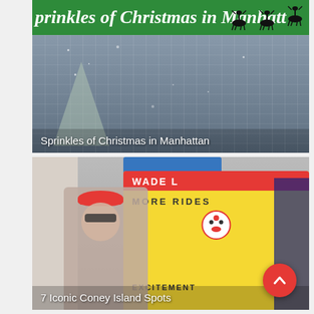[Figure (photo): Photo of a Manhattan building with a green Christmas banner at the top reading 'Sprinkles of Christmas in Manhattan' with reindeer silhouettes, and holiday lights. Text overlay reads 'Sprinkles of Christmas in Manhattan'.]
[Figure (photo): Photo of Coney Island carnival scene with a yellow booth showing 'MORE RIDES', a clown face, and a woman in foreground wearing a red beret. Text overlay reads '7 Iconic Coney Island Spots'. A red back-to-top button is visible in the bottom-right corner.]